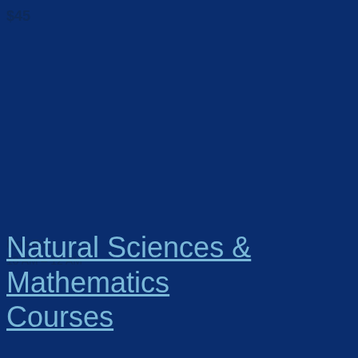$45
Mon-Fri
10 AM - 12 AM
Natural Sciences & Mathematics Courses